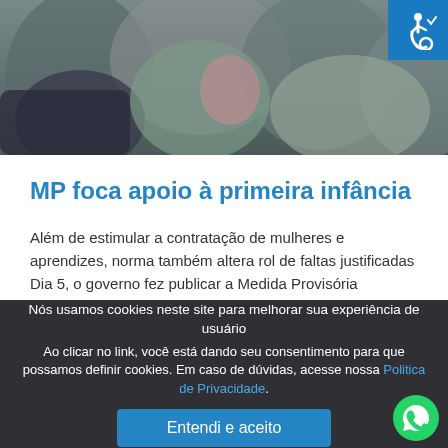[Figure (photo): People (adults and child) in a close-up photo, serving as article header image]
[Figure (logo): Accessibility icon (wheelchair symbol) in white on blue background, top-right corner]
MP foca apoio à primeira infância
Além de estimular a contratação de mulheres e aprendizes, norma também altera rol de faltas justificadas Dia 5, o governo fez publicar a Medida Provisória
Nós usamos cookies neste site para melhorar sua experiência de usuário
Ao clicar no link, você está dando seu consentimento para que possamos definir cookies. Em caso de dúvidas, acesse nossa Politica de Privacidade.
Entendi e aceito
[Figure (logo): WhatsApp icon, bottom-right corner]